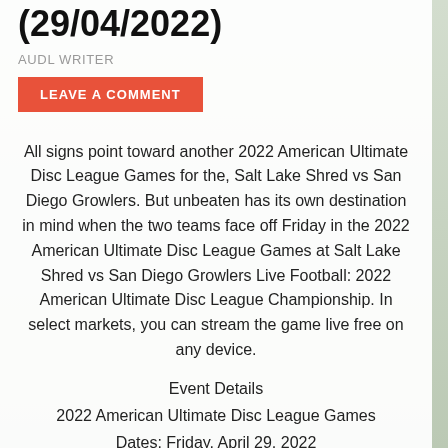(29/04/2022)
AUDL WRITER
LEAVE A COMMENT
All signs point toward another 2022 American Ultimate Disc League Games for the, Salt Lake Shred vs San Diego Growlers. But unbeaten has its own destination in mind when the two teams face off Friday in the 2022 American Ultimate Disc League Games at Salt Lake Shred vs San Diego Growlers Live Football: 2022 American Ultimate Disc League Championship. In select markets, you can stream the game live free on any device.
Event Details
2022 American Ultimate Disc League Games
Dates: Friday, April 29, 2022